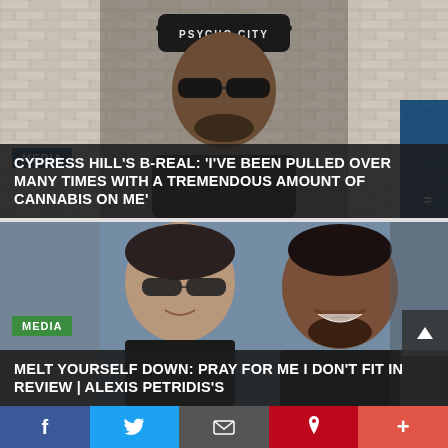[Figure (photo): Man wearing a black 'Psycho City' cap and sunglasses, standing in front of a brick wall background. The Guardian logo visible bottom right.]
MEDIA
CYPRESS HILL'S B-REAL: 'I'VE BEEN PULLED OVER MANY TIMES WITH A TREMENDOUS AMOUNT OF CANNABIS ON ME'
[Figure (photo): Two men smiling, one wearing sunglasses and a black jacket, one with a beard in a dark jacket.]
MEDIA
MELT YOURSELF DOWN: PRAY FOR ME I DON'T FIT IN REVIEW | ALEXIS PETRIDIS'S
f  Twitter  Email  Pinterest  +